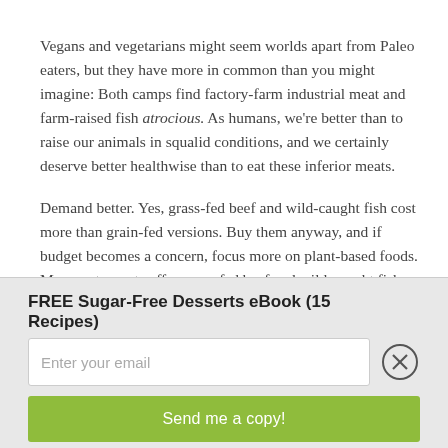Vegans and vegetarians might seem worlds apart from Paleo eaters, but they have more in common than you might imagine: Both camps find factory-farm industrial meat and farm-raised fish atrocious. As humans, we're better than to raise our animals in squalid conditions, and we certainly deserve better healthwise than to eat these inferior meats.
Demand better. Yes, grass-fed beef and wild-caught fish cost more than grain-fed versions. Buy them anyway, and if budget becomes a concern, focus more on plant-based foods. More restaurants offer grass-fed beef and wild-caught fish these days. Ask for it and let your favorite places know how important
FREE Sugar-Free Desserts eBook (15 Recipes)
Enter your email
Send me a copy!